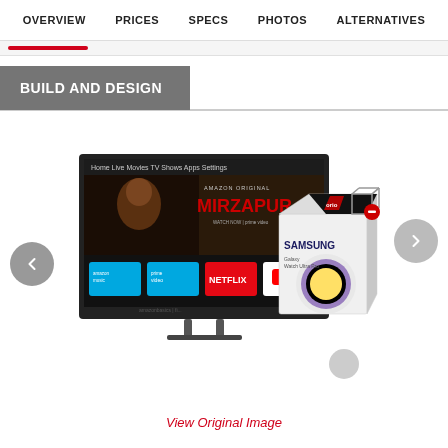OVERVIEW  PRICES  SPECS  PHOTOS  ALTERNATIVES
BUILD AND DESIGN
[Figure (photo): A TV displaying Amazon Prime Video with Mirzapur content, with a Samsung smartwatch product box overlapping on the right side. Left and right navigation arrows flank the image.]
View Original Image